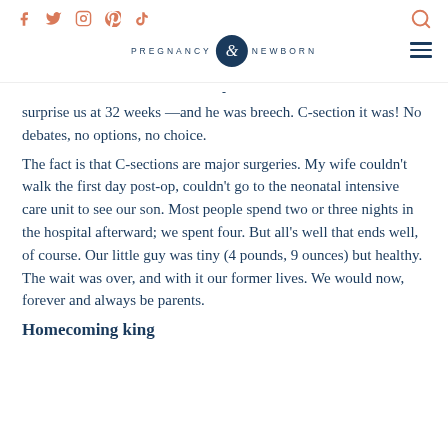PREGNANCY & NEWBORN — social icons, logo, search, hamburger menu
surprise us at 32 weeks —and he was breech. C-section it was! No debates, no options, no choice.
The fact is that C-sections are major surgeries. My wife couldn't walk the first day post-op, couldn't go to the neonatal intensive care unit to see our son. Most people spend two or three nights in the hospital afterward; we spent four. But all's well that ends well, of course. Our little guy was tiny (4 pounds, 9 ounces) but healthy. The wait was over, and with it our former lives. We would now, forever and always be parents.
Homecoming king